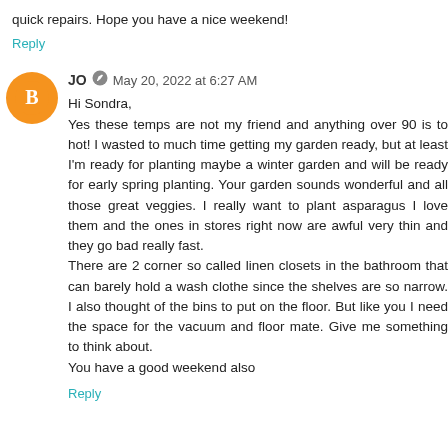quick repairs. Hope you have a nice weekend!
Reply
JO  May 20, 2022 at 6:27 AM
Hi Sondra,
Yes these temps are not my friend and anything over 90 is to hot! I wasted to much time getting my garden ready, but at least I'm ready for planting maybe a winter garden and will be ready for early spring planting. Your garden sounds wonderful and all those great veggies. I really want to plant asparagus I love them and the ones in stores right now are awful very thin and they go bad really fast.
There are 2 corner so called linen closets in the bathroom that can barely hold a wash clothe since the shelves are so narrow. I also thought of the bins to put on the floor. But like you I need the space for the vacuum and floor mate. Give me something to think about.
You have a good weekend also
Reply